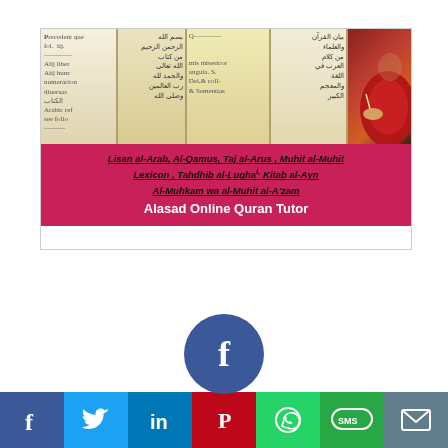[Figure (illustration): Banner image with manuscript/book photos on top and pink overlay with Arabic lexicon titles and 'Alasad Online Quran Tutor' branding]
[Figure (infographic): Social sharing row at the bottom with Facebook (large circle above bar), Twitter, LinkedIn, Pinterest, WhatsApp, SMS, and Email icons]